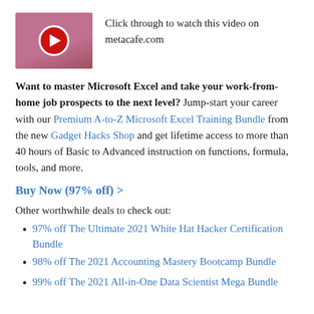[Figure (photo): Video thumbnail showing a woman with a red play button circle overlay, from metacafe.com]
Click through to watch this video on metacafe.com
Want to master Microsoft Excel and take your work-from-home job prospects to the next level? Jump-start your career with our Premium A-to-Z Microsoft Excel Training Bundle from the new Gadget Hacks Shop and get lifetime access to more than 40 hours of Basic to Advanced instruction on functions, formula, tools, and more.
Buy Now (97% off) >
Other worthwhile deals to check out:
97% off The Ultimate 2021 White Hat Hacker Certification Bundle
98% off The 2021 Accounting Mastery Bootcamp Bundle
99% off The 2021 All-in-One Data Scientist Mega Bundle